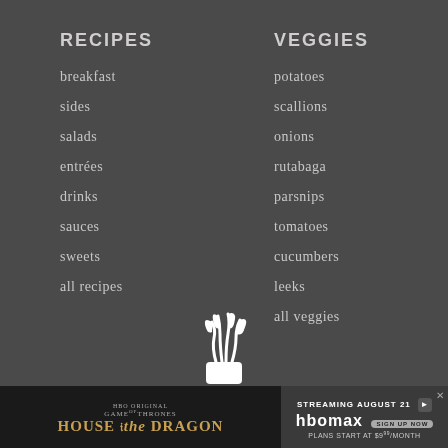RECIPES
breakfast
sides
salads
entrées
drinks
sauces
sweets
all recipes
VEGGIES
potatoes
scallions
onions
rutabaga
parsnips
tomatoes
cucumbers
leeks
all veggies
[Figure (logo): White vegetable/leek logo icon]
[Figure (infographic): House of the Dragon HBO Max streaming advertisement banner - STREAMING AUGUST 21, HBOMAX, PLANS START AT $9/MONTH]